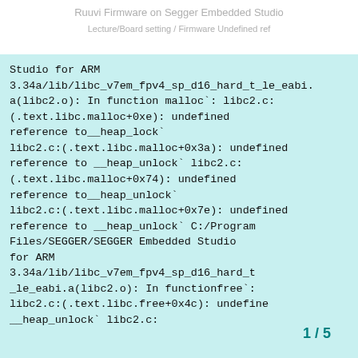Ruuvi Firmware on Segger Embedded Studio
Lecture/Board setting / Firmware Undefined ref
Studio for ARM 3.34a/lib/libc_v7em_fpv4_sp_d16_hard_t_le_eabi.a(libc2.o): In function malloc': libc2.c:(.text.libc.malloc+0xe): undefined reference to__heap_lock' libc2.c:(.text.libc.malloc+0x3a): undefined reference to __heap_unlock' libc2.c:(.text.libc.malloc+0x74): undefined reference to__heap_unlock' libc2.c:(.text.libc.malloc+0x7e): undefined reference to __heap_unlock' C:/Program Files/SEGGER/SEGGER Embedded Studio for ARM 3.34a/lib/libc_v7em_fpv4_sp_d16_hard_t_le_eabi.a(libc2.o): In functionfree': libc2.c:(.text.libc.free+0x4c): undefined __heap_unlock' libc2.c:
1 / 5